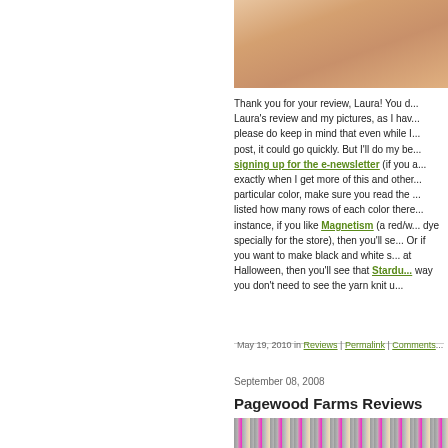[Figure (photo): Partial photo showing skin/body, cropped at top of page on the right side]
Thank you for your review, Laura!  You d... Laura's review and my pictures, as I hav... please do keep in mind that even while I... post, it could go quickly.  But I'll do my be... signing up for the e-newsletter (if you a... exactly when I get more of this and other... particular color, make sure you read the ... listed how many rows of each color there... instance, if you like Magnetism (a red/w... dye specially for the store), then you'll se... Or if you want to make black and white s... at Halloween, then you'll see that Stardu... way you don't need to see the yarn knit u...
May 19, 2010 in Reviews | Permalink | Comments
September 08, 2008
Pagewood Farms Reviews
[Figure (photo): Photo showing knitted items, partially visible at bottom of page]